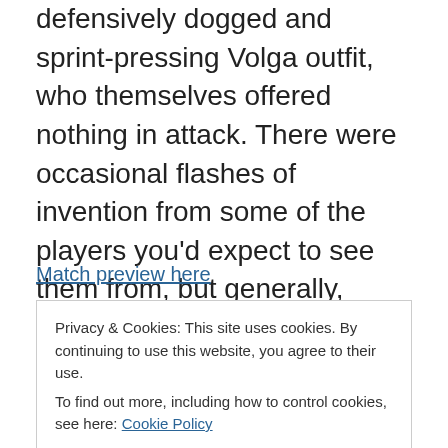defensively dogged and sprint-pressing Volga outfit, who themselves offered nothing in attack. There were occasional flashes of invention from some of the players you'd expect to see them from, but generally, Anzhi's play was sluggish, their passes sideways, and their spirit conspicuous only by its absence. Nevertheless, the three points are ultimately all that matters, and Anzhi need to make up four of them to overtake CSKA Moscow in the third and final Champions League spot. Volga, on the other hand, are now just one point above the drop zone.
Match preview here
Privacy & Cookies: This site uses cookies. By continuing to use this website, you agree to their use. To find out more, including how to control cookies, see here: Cookie Policy
Close and accept
based recover from the word go, and some of their initial